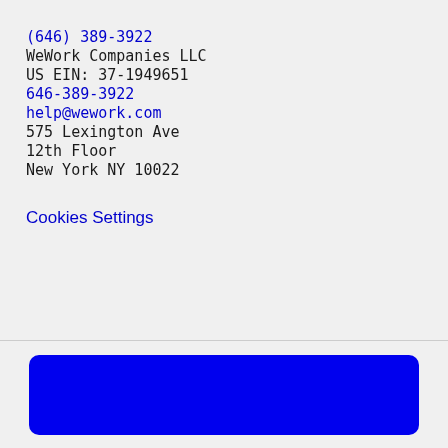(646) 389-3922
WeWork Companies LLC
US EIN: 37-1949651
646-389-3922
help@wework.com
575 Lexington Ave
12th Floor
New York NY 10022
Cookies Settings
[Figure (other): Solid blue rounded rectangle button]